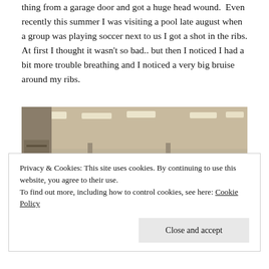thing from a garage door and got a huge head wound.  Even recently this summer I was visiting a pool late august when a group was playing soccer next to us I got a shot in the ribs. At first I thought it wasn't so bad.. but then I noticed I had a bit more trouble breathing and I noticed a very big bruise around my ribs.
[Figure (photo): Interior of a gymnasium or sports hall with ceiling lights, brick/concrete walls, gym equipment (wall bars on left), a basketball hoop visible on far wall, and what appears to be an anime-style illustration overlaid in the lower right portion.]
Privacy & Cookies: This site uses cookies. By continuing to use this website, you agree to their use.
To find out more, including how to control cookies, see here: Cookie Policy
Close and accept